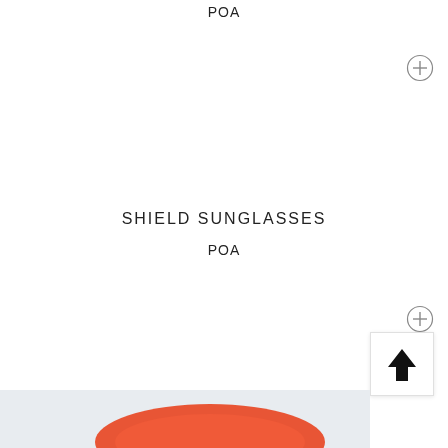POA
[Figure (other): Circular plus/add button icon (top right)]
SHIELD SUNGLASSES
POA
[Figure (other): Circular plus/add button icon (bottom right)]
[Figure (other): Scroll-to-top button with upward arrow icon, bottom right corner]
[Figure (photo): Partial view of an orange/red product (sunglasses case or similar) on a light grey background, cropped at bottom of page]